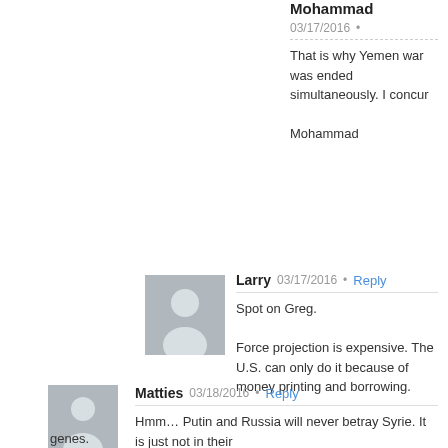Mohammad
03/17/2016 • That is why Yemen war was ended simultaneously. I concur

Mohammad
[Figure (illustration): Gray silhouette avatar icon for Larry]
Larry  03/17/2016 • Reply
Spot on Greg.

Force projection is expensive. The U.S. can only do it because of money printing and borrowing.
[Figure (illustration): Gray silhouette avatar icon for Matties]
Matties  03/18/2016 • Reply
Hmm… Putin and Russia will never betray Syrie. It is just not in their genes.